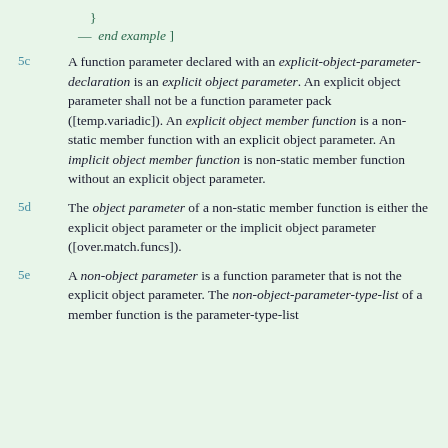}
— end example ]
5c  A function parameter declared with an explicit-object-parameter-declaration is an explicit object parameter. An explicit object parameter shall not be a function parameter pack ([temp.variadic]). An explicit object member function is a non-static member function with an explicit object parameter. An implicit object member function is non-static member function without an explicit object parameter.
5d  The object parameter of a non-static member function is either the explicit object parameter or the implicit object parameter ([over.match.funcs]).
5e  A non-object parameter is a function parameter that is not the explicit object parameter. The non-object-parameter-type-list of a member function is the parameter-type-list...